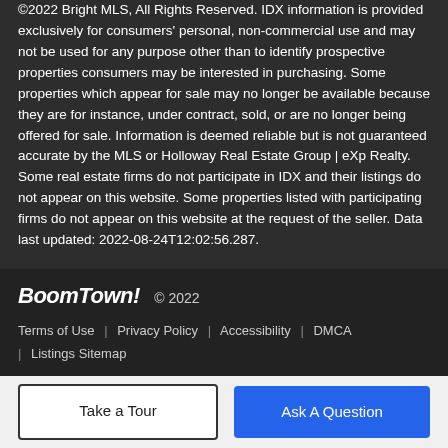©2022 Bright MLS, All Rights Reserved. IDX information is provided exclusively for consumers' personal, non-commercial use and may not be used for any purpose other than to identify prospective properties consumers may be interested in purchasing. Some properties which appear for sale may no longer be available because they are for instance, under contract, sold, or are no longer being offered for sale. Information is deemed reliable but is not guaranteed accurate by the MLS or Holloway Real Estate Group | eXp Realty. Some real estate firms do not participate in IDX and their listings do not appear on this website. Some properties listed with participating firms do not appear on this website at the request of the seller. Data last updated: 2022-08-24T12:02:56.287.
BoomTown! © 2022 | Terms of Use | Privacy Policy | Accessibility | DMCA | Listings Sitemap
Take a Tour
Ask A Question